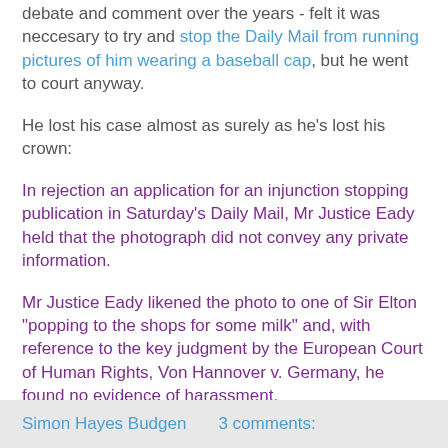debate and comment over the years - felt it was neccesary to try and stop the Daily Mail from running pictures of him wearing a baseball cap, but he went to court anyway.
He lost his case almost as surely as he's lost his crown:
In rejection an application for an injunction stopping publication in Saturday's Daily Mail, Mr Justice Eady held that the photograph did not convey any private information.
Mr Justice Eady likened the photo to one of Sir Elton "popping to the shops for some milk" and, with reference to the key judgment by the European Court of Human Rights, Von Hannover v. Germany, he found no evidence of harassment.
Elton had suggested that the pictures of his barnet were an invasion of his privacy.
music elton john
Simon Hayes Budgen   3 comments: